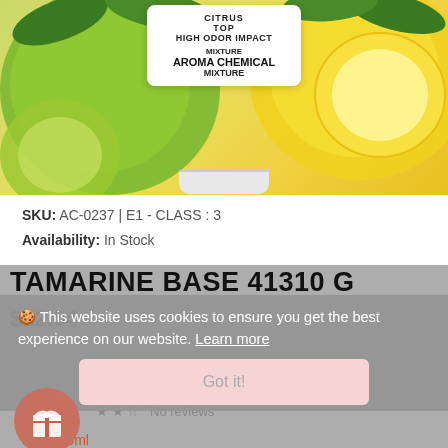[Figure (photo): Product photo showing a white label bottle in front of green limes and yellow lemon slices. The label reads: CITRUS, TOP, HIGH ODOR IMPACT, MIXTURE, AROMA CHEMICAL MIXTURE.]
SKU: AC-0237|E1 - CLASS : 3
Availability: In Stock
TAMARINE BASE 41310 G
$12.04
🍪 This website uses cookies to ensure you get the best experience on our website. Learn more
Got it!
★ ★ ☆  No reviews
Size: 15ml